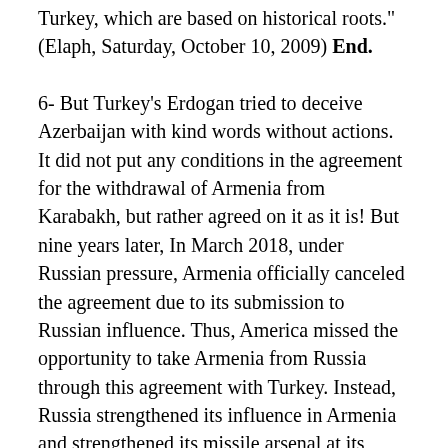Turkey, which are based on historical roots." (Elaph, Saturday, October 10, 2009) End.
6- But Turkey's Erdogan tried to deceive Azerbaijan with kind words without actions. It did not put any conditions in the agreement for the withdrawal of Armenia from Karabakh, but rather agreed on it as it is! But nine years later, In March 2018, under Russian pressure, Armenia officially canceled the agreement due to its submission to Russian influence. Thus, America missed the opportunity to take Armenia from Russia through this agreement with Turkey. Instead, Russia strengthened its influence in Armenia and strengthened its missile arsenal at its base, the Armenian Gyumri base, and then signed a joint air defense agreement in December 2015 with Armenia and deployed a squadron of MiG-29 aircraft, and thousands of soldiers, armour, long-range S-300 air and